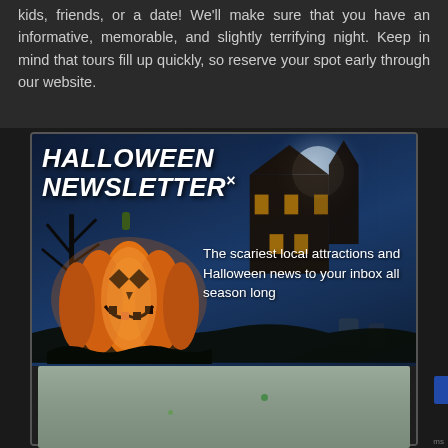kids, friends, or a date! We'll make sure that you have an informative, memorable, and slightly terrifying night. Keep in mind that tours fill up quickly, so reserve your spot early through our website.
[Figure (infographic): Halloween Newsletter signup widget with dark background showing a haunted house, full moon, glowing jack-o-lantern pumpkin, silhouetted gravestones and trees. Title reads 'HALLOWEEN NEWSLETTER×' with description text and email signup form with [your email] input, VA state dropdown, and orange JOIN button.]
[Figure (map): Partial map screenshot showing grey/green terrain map, partially visible at the bottom of the page.]